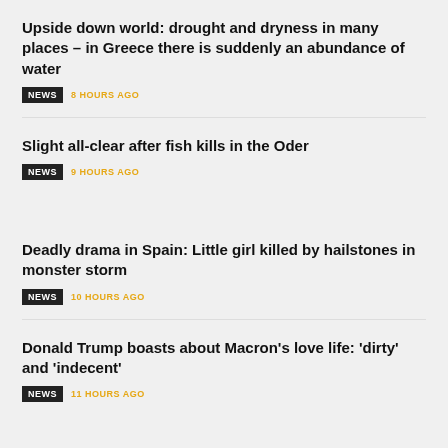Upside down world: drought and dryness in many places – in Greece there is suddenly an abundance of water
NEWS · 8 HOURS AGO
Slight all-clear after fish kills in the Oder
NEWS · 9 HOURS AGO
Deadly drama in Spain: Little girl killed by hailstones in monster storm
NEWS · 10 HOURS AGO
Donald Trump boasts about Macron's love life: 'dirty' and 'indecent'
NEWS · 11 HOURS AGO